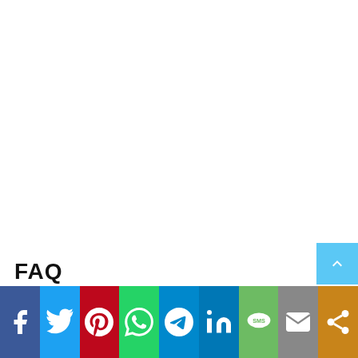FAQ
[Figure (infographic): Social media sharing bar with icons for Facebook, Twitter, Pinterest, WhatsApp, Telegram, LinkedIn, SMS, Email, and Share, plus a scroll-to-top button]